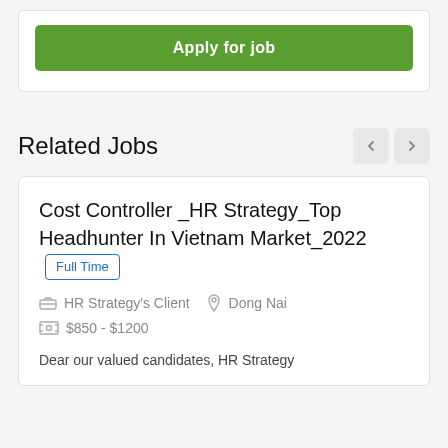Apply for job
Related Jobs
Cost Controller _HR Strategy_Top Headhunter In Vietnam Market_2022
Full Time
HR Strategy's Client
Dong Nai
$850 - $1200
Dear our valued candidates, HR Strategy